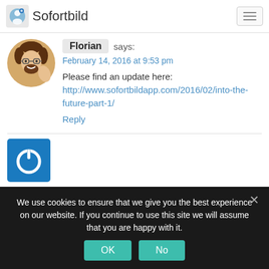Sofortbild
[Figure (illustration): Avatar of Florian: cartoon man with brown hair, glasses, beard, giving thumbs up]
Florian says:
February 14, 2016 at 9:53 pm
Please find an update here: http://www.sofortbildapp.com/2016/02/into-the-future-part-1/
Reply
[Figure (logo): Blue square with white power button icon]
We use cookies to ensure that we give you the best experience on our website. If you continue to use this site we will assume that you are happy with it.